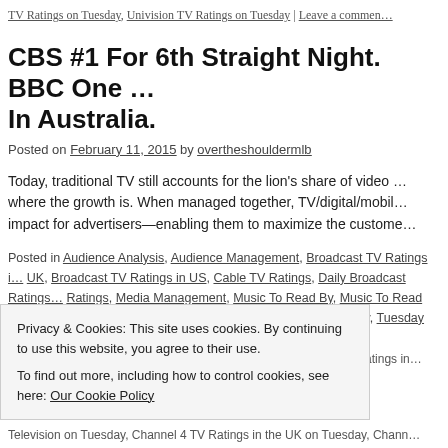TV Ratings on Tuesday, Univision TV Ratings on Tuesday | Leave a comment
CBS #1 For 6th Straight Night. BBC One … In Australia.
Posted on February 11, 2015 by overtheshouldermlb
Today, traditional TV still accounts for the lion's share of video … where the growth is. When managed together, TV/digital/mobile … impact for advertisers—enabling them to maximize the customer…
Posted in Audience Analysis, Audience Management, Broadcast TV Ratings in UK, Broadcast TV Ratings in US, Cable TV Ratings, Daily Broadcast Ratings, … Ratings, Media Management, Music To Read By, Music To Read overtheshou… Renewals, Television Ratings, Today In TV History, Tuesday Night TV Ratings…
Ratings in the UK on Tuesday, 10-24 Hours in Police Custody TV Ratings in …
Privacy & Cookies: This site uses cookies. By continuing to use this website, you agree to their use.
To find out more, including how to control cookies, see here: Our Cookie Policy
Close and accept
Television on Tuesday, Channel 4 TV Ratings in the UK on Tuesday, Chann…